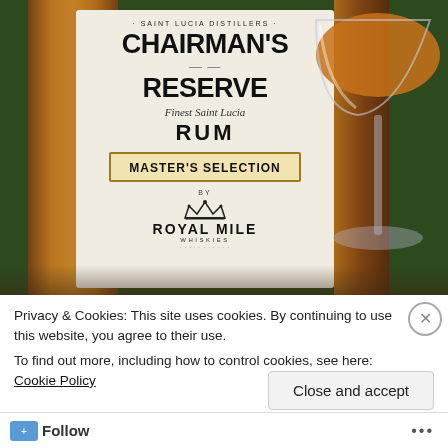[Figure (photo): A bottle of Chairman's Reserve Finest Saint Lucia Rum, Master's Selection by Royal Mile Whiskies, displayed on a wooden table alongside a coupe glass filled with amber rum. The bottle label is white with bold black text. Background shows outdoor greenery.]
Privacy & Cookies: This site uses cookies. By continuing to use this website, you agree to their use.
To find out more, including how to control cookies, see here: Cookie Policy
Close and accept
Follow ...